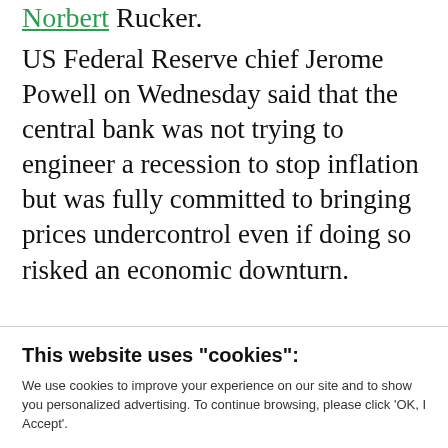Norbert Rucker.
US Federal Reserve chief Jerome Powell on Wednesday said that the central bank was not trying to engineer a recession to stop inflation but was fully committed to bringing prices undercontrol even if doing so risked an economic downturn.
This website uses "cookies":
We use cookies to improve your experience on our site and to show you personalized advertising. To continue browsing, please click 'OK, I Accept'.
For more information, please read our Privacy Policy
Ok, I Accept